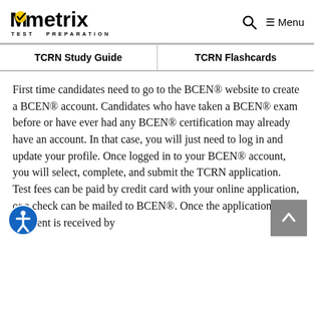Mometrix TEST PREPARATION
| TCRN Study Guide | TCRN Flashcards |
| --- | --- |
First time candidates need to go to the BCEN® website to create a BCEN® account. Candidates who have taken a BCEN® exam before or have ever had any BCEN® certification may already have an account. In that case, you will just need to log in and update your profile. Once logged in to your BCEN® account, you will select, complete, and submit the TCRN application. Test fees can be paid by credit card with your online application, or a check can be mailed to BCEN®. Once the application and payment is received by